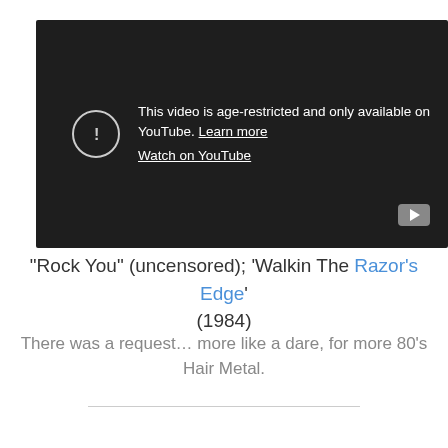[Figure (screenshot): YouTube embedded video player showing an age-restricted video message: 'This video is age-restricted and only available on YouTube. Learn more' with a 'Watch on YouTube' link, dark background, warning icon, and YouTube play button in bottom-right corner.]
“Rock You” (uncensored); ‘Walkin The Razor’s Edge’ (1984)
There was a request… more like a dare, for more 80’s Hair Metal.